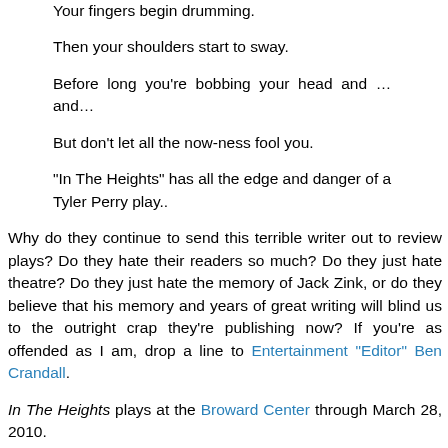Your fingers begin drumming.
Then your shoulders start to sway.
Before long you're bobbing your head and … and…
But don't let all the now-ness fool you.
"In The Heights" has all the edge and danger of a Tyler Perry play..
Why do they continue to send this terrible writer out to review plays? Do they hate their readers so much? Do they just hate theatre? Do they just hate the memory of Jack Zink, or do they believe that his memory and years of great writing will blind us to the outright crap they're publishing now? If you're as offended as I am, drop a line to Entertainment "Editor" Ben Crandall.
In The Heights plays at the Broward Center through March 28, 2010.